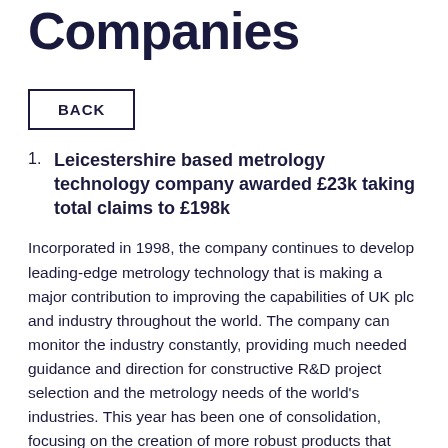Companies
BACK
Leicestershire based metrology technology company awarded £23k taking total claims to £198k
Incorporated in 1998, the company continues to develop leading-edge metrology technology that is making a major contribution to improving the capabilities of UK plc and industry throughout the world. The company can monitor the industry constantly, providing much needed guidance and direction for constructive R&D project selection and the metrology needs of the world's industries. This year has been one of consolidation, focusing on the creation of more robust products that meet customer needs. This has provided important intelligence and direction for future R&D. The company can now achieve in six